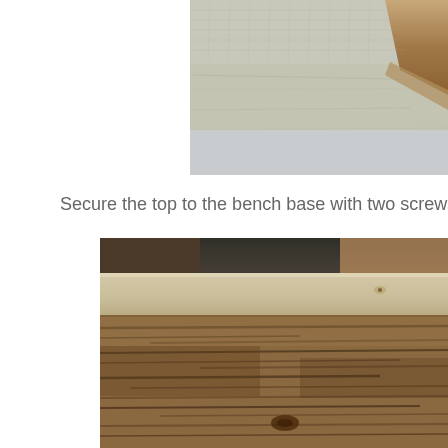[Figure (photo): Close-up photo of weathered wooden boards with mesh/fabric material, showing the edge of a piece of wood with rough texture against a light blue background]
Secure the top to the bench base with two screws
[Figure (photo): Close-up photo of weathered dark wooden planks with grain texture, showing a lighter colored wood piece on top, with visible knots and wood grain patterns]